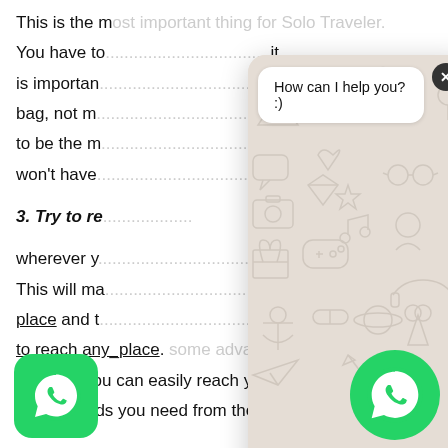This is the most important thing for Solo Traveler. You have to ... it is important ... bag, not m... to be the m... won't have ...
3. Try to re...
wherever y... This will ma... place and t... to reach any_place. Some advantages: by reaching daylight, you can easily reach your hotel and ... buy the goods you need from the marke...
[Figure (screenshot): WhatsApp chat widget overlay with patterned background, 'How can I help you? :)' chat bubble, text input bar, green send button, and two WhatsApp logo icons (bottom-left rounded square, bottom-right circle). Close button (X) top-right.]